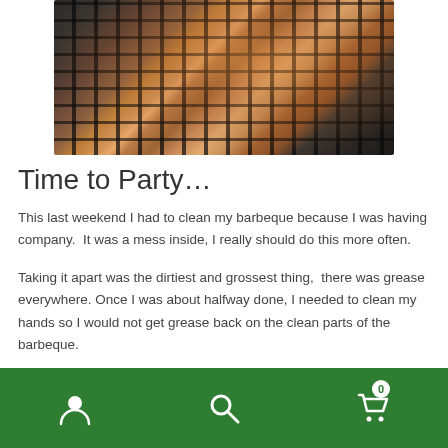[Figure (photo): Grilled meat including sausages and bacon-like pieces on a barbecue grill grate, top-down view]
Time to Party…
This last weekend I had to clean my barbeque because I was having company.  It was a mess inside, I really should do this more often.
Taking it apart was the dirtiest and grossest thing,  there was grease everywhere. Once I was about halfway done, I needed to clean my hands so I would not get grease back on the clean parts of the barbeque.
Navigation bar with user icon, search icon, and cart icon (badge: 0)